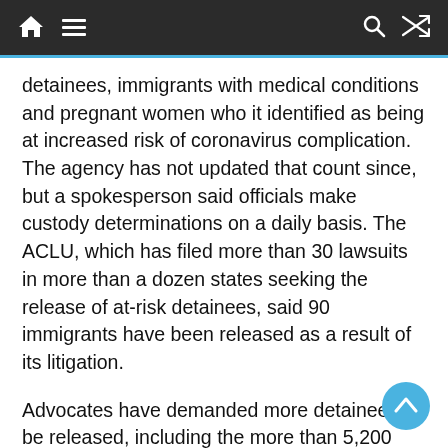Navigation bar with home, menu, search, and shuffle icons
detainees, immigrants with medical conditions and pregnant women who it identified as being at increased risk of coronavirus complication. The agency has not updated that count since, but a spokesperson said officials make custody determinations on a daily basis. The ACLU, which has filed more than 30 lawsuits in more than a dozen states seeking the release of at-risk detainees, said 90 immigrants have been released as a result of its litigation.
Advocates have demanded more detainees to be released, including the more than 5,200 asylum-seekers who have demonstrated fear of persecution in their home countries and others who don't pose a threat to the public. But ICE has